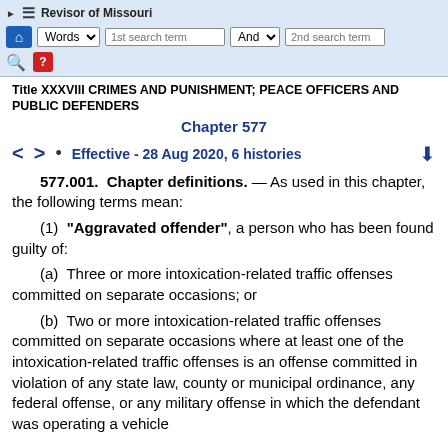Revisor of Missouri
Title XXXVIII CRIMES AND PUNISHMENT; PEACE OFFICERS AND PUBLIC DEFENDERS
Chapter 577
Effective - 28 Aug 2020, 6 histories
577.001. Chapter definitions. — As used in this chapter, the following terms mean:
(1) "Aggravated offender", a person who has been found guilty of:
(a) Three or more intoxication-related traffic offenses committed on separate occasions; or
(b) Two or more intoxication-related traffic offenses committed on separate occasions where at least one of the intoxication-related traffic offenses is an offense committed in violation of any state law, county or municipal ordinance, any federal offense, or any military offense in which the defendant was operating a vehicle